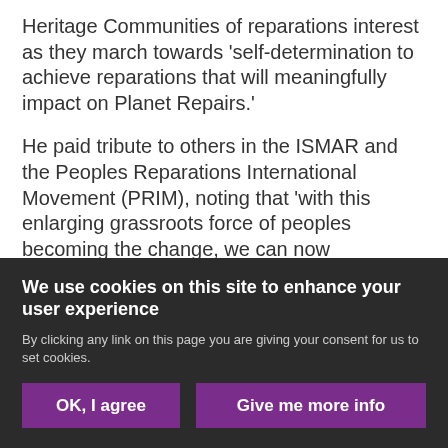Heritage Communities of reparations interest as they march towards 'self-determination to achieve reparations that will meaningfully impact on Planet Repairs.'
He paid tribute to others in the ISMAR and the Peoples Reparations International Movement (PRIM), noting that 'with this enlarging grassroots force of peoples becoming the change, we can now convincingly express confidence in our ability to win the case for the All-Party Parliamentary Commission of Inquiry for Truth and Reparatory Justice and make
We use cookies on this site to enhance your user experience
By clicking any link on this page you are giving your consent for us to set cookies.
OK, I agree
Give me more info